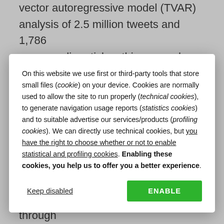vector autoregressive model (TVAR) analysis of 2.5 million tweets and 1,786 news media articles, this research tests the condition by which the hetero...
On this website we use first or third-party tools that store small files (cookie) on your device. Cookies are normally used to allow the site to run properly (technical cookies), to generate navigation usage reports (statistics cookies) and to suitable advertise our services/products (profiling cookies). We can directly use technical cookies, but you have the right to choose whether or not to enable statistical and profiling cookies. Enabling these cookies, you help us to offer you a better experience.
Keep disabled
ENABLE
tipping point, rather than merely through